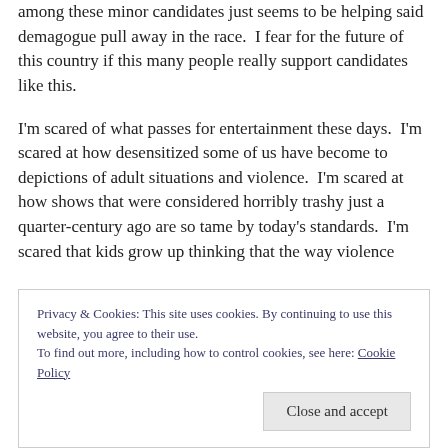among these minor candidates just seems to be helping said demagogue pull away in the race.  I fear for the future of this country if this many people really support candidates like this.
I'm scared of what passes for entertainment these days.  I'm scared at how desensitized some of us have become to depictions of adult situations and violence.  I'm scared at how shows that were considered horribly trashy just a quarter-century ago are so tame by today's standards.  I'm scared that kids grow up thinking that the way violence
Privacy & Cookies: This site uses cookies. By continuing to use this website, you agree to their use.
To find out more, including how to control cookies, see here: Cookie Policy